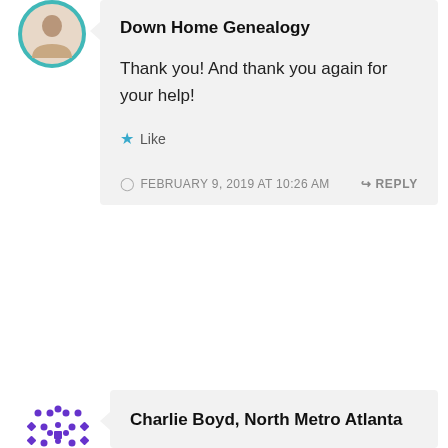Down Home Genealogy
Thank you! And thank you again for your help!
★ Like
FEBRUARY 9, 2019 AT 10:26 AM
REPLY
Charlie Boyd, North Metro Atlanta